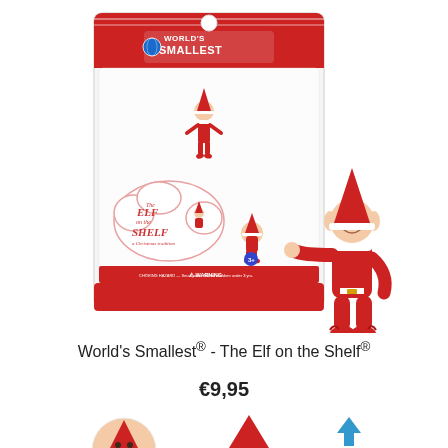[Figure (photo): Product photo of World's Smallest Elf on the Shelf toy in packaging. Shows a blister pack with 'World's Smallest' branding, a tiny Elf on the Shelf figure inside, and a larger loose elf figure posed next to the package. The package has red and white design with the Elf on the Shelf logo and a warning label.]
World's Smallest® - The Elf on the Shelf®
€9,95
[Figure (photo): Bottom portion showing three small detail/navigation images: an elf head close-up, a red pointed hat, and a blue upward arrow.]